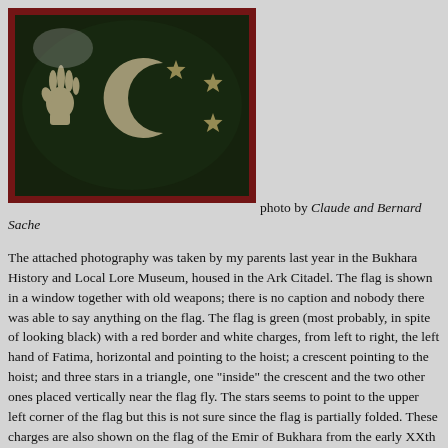[Figure (photo): A dark green flag with red border displayed in a museum window. The flag shows white charges including the left hand of Fatima (pointing left/hoist), a crescent moon pointing to the hoist, and three stars arranged in a triangle.]
photo by Claude and Bernard Sache
The attached photography was taken by my parents last year in the Bukhara History and Local Lore Museum, housed in the Ark Citadel. The flag is shown in a window together with old weapons; there is no caption and nobody there was able to say anything on the flag. The flag is green (most probably, in spite of looking black) with a red border and white charges, from left to right, the left hand of Fatima, horizontal and pointing to the hoist; a crescent pointing to the hoist; and three stars in a triangle, one "inside" the crescent and the two other ones placed vertically near the flag fly. The stars seems to point to the upper left corner of the flag but this is not sure since the flag is partially folded. These charges are also shown on the flag of the Emir of Bukhara from the early XXth century.
Ivan Sache, 9 April 2007